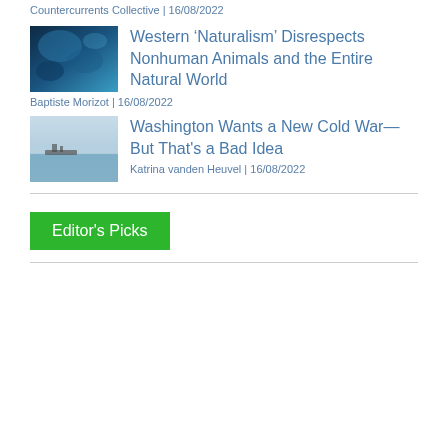Countercurrents Collective | 16/08/2022
[Figure (photo): Dark blue underwater or abstract smoke image thumbnail]
Western ‘Naturalism’ Disrespects Nonhuman Animals and the Entire Natural World
Baptiste Morizot | 16/08/2022
[Figure (photo): Ship on calm sea with overcast sky thumbnail]
Washington Wants a New Cold War—But That's a Bad Idea
Katrina vanden Heuvel | 16/08/2022
Editor's Picks